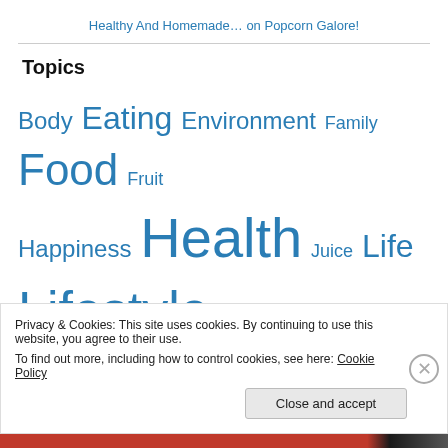Healthy And Homemade… on Popcorn Galore!
Topics
Body Eating Environment Family Food Fruit Happiness Health Juice Life Lifestyle Meals Mind Natural Non GMO
Privacy & Cookies: This site uses cookies. By continuing to use this website, you agree to their use.
To find out more, including how to control cookies, see here: Cookie Policy
Close and accept